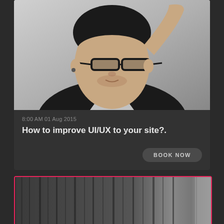[Figure (photo): Black and white portrait photo of a young man wearing glasses and a black t-shirt with white design, hand raised to his head]
8:00 AM 01 Aug 2015
How to improve UI/UX to your site?.
BOOK NOW
[Figure (photo): Partially visible black and white photo with curtain-like vertical streaks, card highlighted with pink/red border]